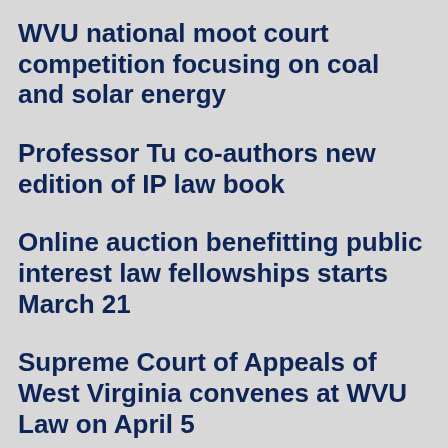WVU national moot court competition focusing on coal and solar energy
Professor Tu co-authors new edition of IP law book
Online auction benefitting public interest law fellowships starts March 21
Supreme Court of Appeals of West Virginia convenes at WVU Law on April 5
Coleman named director of WVU